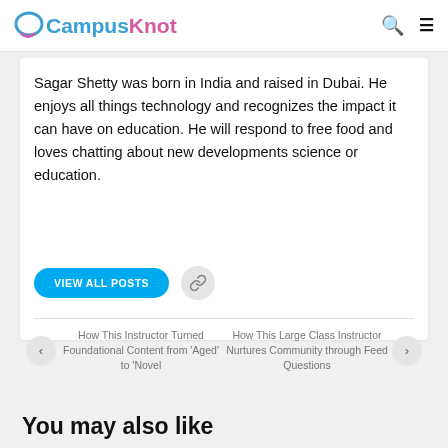CampusKnot
Sagar Shetty was born in India and raised in Dubai. He enjoys all things technology and recognizes the impact it can have on education. He will respond to free food and loves chatting about new developments science or education.
VIEW ALL POSTS
How This Instructor Turned Foundational Content from ‘Aged’ to ‘Novel
How This Large Class Instructor Nurtures Community through Feed Questions
You may also like